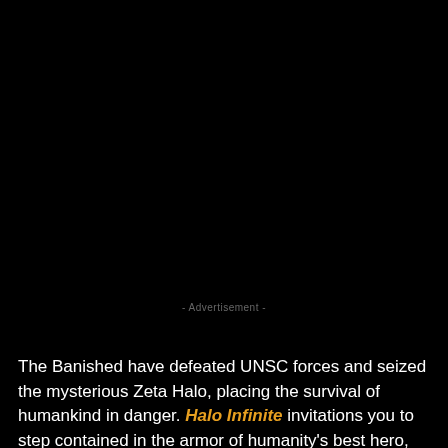[Figure (photo): Large black image area at the top portion of the page, likely a screenshot or promotional image for Halo Infinite that is not visible/loaded]
- Advertisement -
The Banished have defeated UNSC forces and seized the mysterious Zeta Halo, placing the survival of humankind in danger. Halo Infinite invitations you to step contained in the armor of humanity's best hero, the Grasp Chief, confront